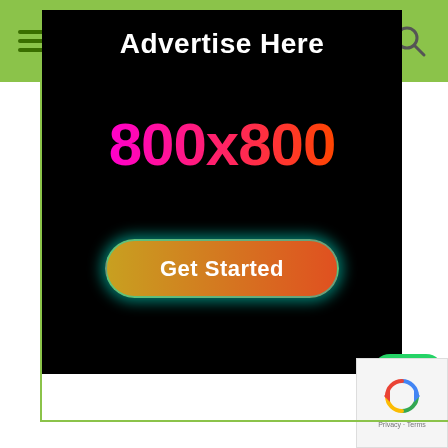Navigation bar with hamburger menu and search/share icons
[Figure (infographic): Advertisement banner on black background with 'Advertise Here' title, '800x800' dimensions text in pink-to-red gradient, and a 'Get Started' button with gold-to-red gradient and cyan glow border]
[Figure (logo): WhatsApp icon - green rounded square with white phone handset speech bubble logo]
[Figure (other): Google reCAPTCHA badge with spinning arrows logo and 'Privacy - Terms' text]